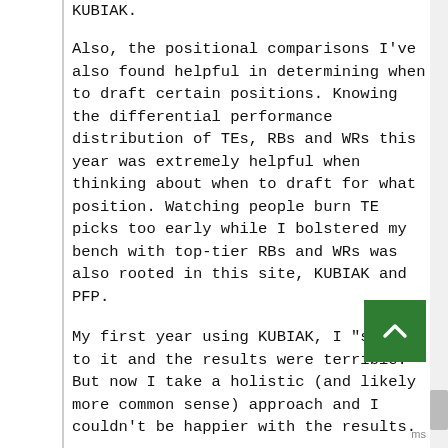KUBIAK.
Also, the positional comparisons I've also found helpful in determining when to draft certain positions. Knowing the differential performance distribution of TEs, RBs and WRs this year was extremely helpful when thinking about when to draft for what position. Watching people burn TE picks too early while I bolstered my bench with top-tier RBs and WRs was also rooted in this site, KUBIAK and PFP.
My first year using KUBIAK, I "slaved" to it and the results were terrible. But now I take a holistic (and likely more common sense) approach and I couldn't be happier with the results.
But that being said...can someone explain to me why their are so many posters who seem to be